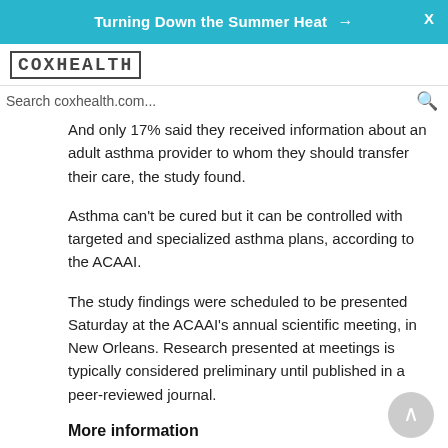Turning Down the Summer Heat →
[Figure (logo): CoxHealth logo in monospaced uppercase text with border]
Search coxhealth.com...
And only 17% said they received information about an adult asthma provider to whom they should transfer their care, the study found.
Asthma can't be cured but it can be controlled with targeted and specialized asthma plans, according to the ACAAI.
The study findings were scheduled to be presented Saturday at the ACAAI's annual scientific meeting, in New Orleans. Research presented at meetings is typically considered preliminary until published in a peer-reviewed journal.
More information
The U.S. National Heart, Lung, and Blood Institute has more on asthma.
SOURCE: American College of Allergy, Asthma and Immunology, news release, Nov. 5, 2021